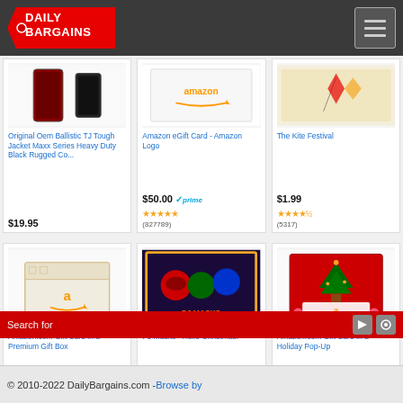[Figure (logo): DailyBargains logo — red price-tag shape with white text DAILYBARGAINS]
[Figure (screenshot): Product listing grid with 6 items: row 1: Original Oem Ballistic TJ Tough Jacket Maxx Series Heavy Duty Black Rugged Co..., Amazon eGift Card - Amazon Logo, The Kite Festival; row 2: Amazon.com Gift Card in a Premium Gift Box, PJ Masks - Hello Christmas!, Amazon.com Gift Card in a Holiday Pop-Up]
Original Oem Ballistic TJ Tough Jacket Maxx Series Heavy Duty Black Rugged Co...
$19.95
Amazon eGift Card - Amazon Logo
$50.00 ✓prime
★★★★★ (827789)
The Kite Festival
$1.99
★★★★½ (5317)
Amazon.com Gift Card in a Premium Gift Box
PJ Masks - Hello Christmas!
Amazon.com Gift Card in a Holiday Pop-Up
Search for
© 2010-2022 DailyBargains.com - Browse by